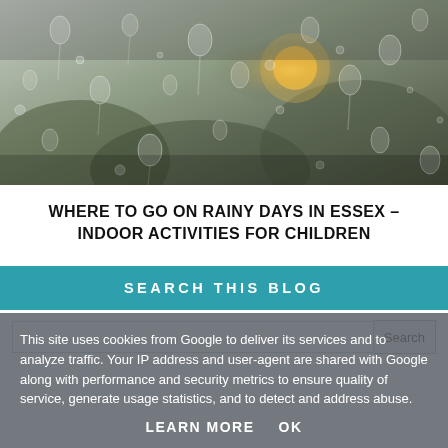[Figure (photo): Raindrops on a window glass with blurred background showing trees and a warm light, dark and grey tones]
WHERE TO GO ON RAINY DAYS IN ESSEX - INDOOR ACTIVITIES FOR CHILDREN
SEARCH THIS BLOG
This site uses cookies from Google to deliver its services and to analyze traffic. Your IP address and user-agent are shared with Google along with performance and security metrics to ensure quality of service, generate usage statistics, and to detect and address abuse.
LEARN MORE   OK